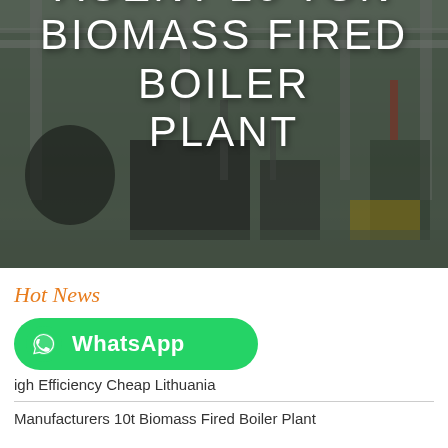[Figure (photo): Industrial boiler manufacturing facility interior with large equipment, overhead cranes, and industrial machinery. Dark overlay with white text overlay.]
AGENT 10 TON BIOMASS FIRED BOILER PLANT
Hot News
[Figure (logo): WhatsApp button - green rounded rectangle with WhatsApp phone icon and text 'WhatsApp']
High Efficiency Cheap Lithuania
Manufacturers 10t Biomass Fired Boiler Plant